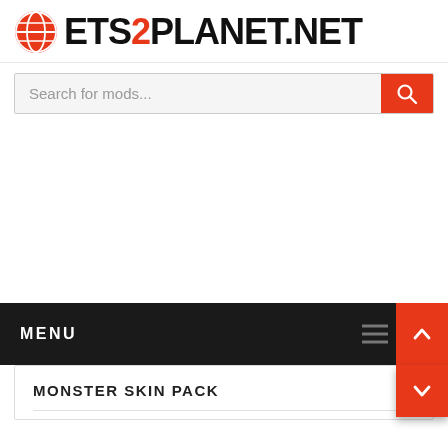[Figure (logo): ETS2PLANET.NET logo with globe icon in red and bold black text, '2' in red]
[Figure (screenshot): Search bar with placeholder text 'Search for mods...' and red search button with magnifying glass icon]
MENU
MONSTER SKIN PACK